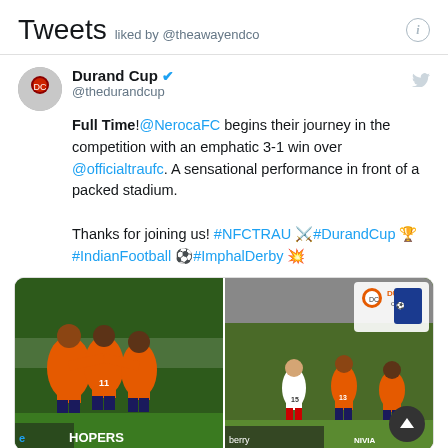Tweets liked by @theawayendco
Durand Cup @thedurandcup
Full Time!@NerocaFC begins their journey in the competition with an emphatic 3-1 win over @officialtraufc. A sensational performance in front of a packed stadium.

Thanks for joining us! #NFCTRAU ⚔#DurandCup 🏆 #IndianFootball ⚽#ImphalDerby 💥
[Figure (photo): Two side-by-side football match photos: left shows orange-jersey players celebrating, right shows players in action on the pitch with Durand Cup logo visible]